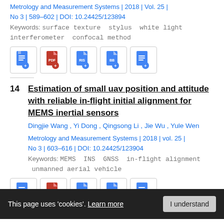Metrology and Measurement Systems | 2018 | Vol. 25 | No 3 | 589–602 | DOI: 10.24425/123894
Keywords:  surface texture  stylus  white light interferometer  confocal method
[Figure (other): Row of 5 document icon buttons]
14  Estimation of small uav position and attitude with reliable in-flight initial alignment for MEMS inertial sensors
Dingjie Wang , Yi Dong , Qingsong Li , Jie Wu , Yule Wen
Metrology and Measurement Systems | 2018 | vol. 25 | No 3 | 603–616 | DOI: 10.24425/123904
Keywords:  MEMS  INS  GNSS  in-flight alignment  unmanned aerial vehicle
[Figure (other): Row of 5 document icon buttons]
This page uses 'cookies'. Learn more  I understand
15  Analysis of the impact of interior orientation